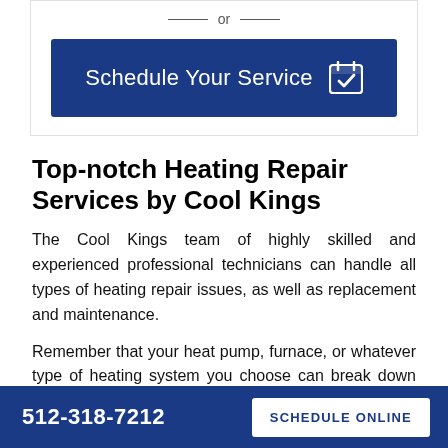[Figure (other): Blue button labeled 'Schedule Your Service' with a calendar checkmark icon, preceded by an 'or' text divider with horizontal lines]
Top-notch Heating Repair Services by Cool Kings
The Cool Kings team of highly skilled and experienced professional technicians can handle all types of heating repair issues, as well as replacement and maintenance.
Remember that your heat pump, furnace, or whatever type of heating system you choose can break down anytime. So, it's essential to be vigilant
512-318-7212   SCHEDULE ONLINE